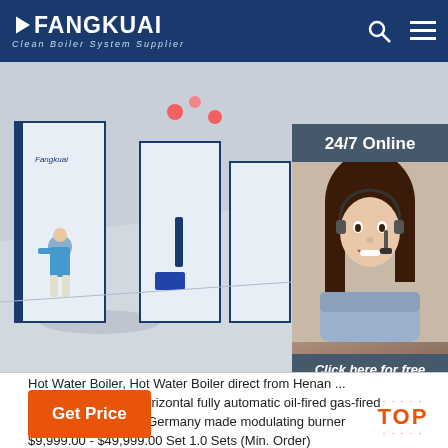FANGKUAI Clean Boiler System Supplier
[Figure (photo): 3D render of large white industrial hot water boilers in a showroom setting with a person standing nearby, plus a customer service agent photo overlay on the right with '24/7 Online' banner and QUOTATION button]
Hot Water Boiler, Hot Water Boiler direct from Henan ... 2.8MW/hr-1.0MPa horizontal fully automatic oil-fired gas-fired hot water boiler with Germany made modulating burner $9,999.00 - $49,999.00 Set 1.0 Sets (Min. Order)
Get Price